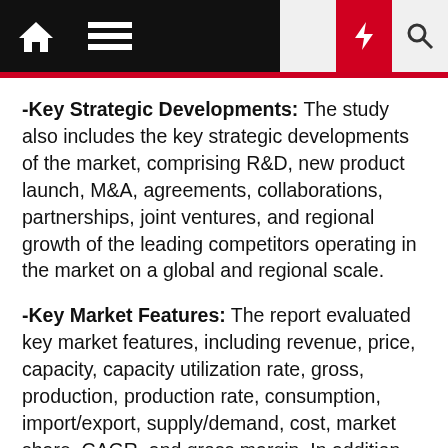Navigation bar with home, menu, moon, lightning, search icons
-Key Strategic Developments: The study also includes the key strategic developments of the market, comprising R&D, new product launch, M&A, agreements, collaborations, partnerships, joint ventures, and regional growth of the leading competitors operating in the market on a global and regional scale.
-Key Market Features: The report evaluated key market features, including revenue, price, capacity, capacity utilization rate, gross, production, production rate, consumption, import/export, supply/demand, cost, market share, CAGR, and gross margin. In addition, the study offers a comprehensive study of the key market dynamics and their latest trends, along with pertinent market segments and sub-segments.